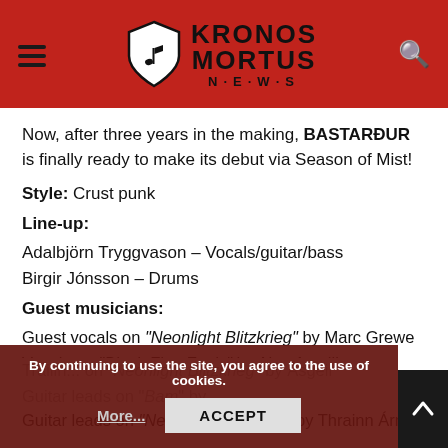Kronos Mortus News
Now, after three years in the making, BASTARÐUR is finally ready to make its debut via Season of Mist!
Style: Crust punk
Line-up:
Adalbjörn Tryggvason – Vocals/guitar/bass
Birgir Jónsson – Drums
Guest musicians:
Guest vocals on "Neonlight Blitzkrieg" by Marc Grewe
Vocals on "Black Flag Fools" by Alan Averill
Backing vocals on "Afturhalds Kommatittir" by Ásgeir
Guitar leads on "Neonlight Blitzkrieg" by Thrainn Árni